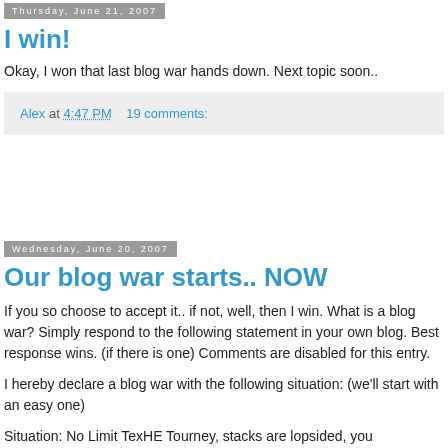Thursday, June 21, 2007
I win!
Okay, I won that last blog war hands down. Next topic soon..
Alex at 4:47 PM    19 comments:
Wednesday, June 20, 2007
Our blog war starts.. NOW
If you so choose to accept it.. if not, well, then I win. What is a blog war? Simply respond to the following statement in your own blog. Best response wins. (if there is one) Comments are disabled for this entry.
I hereby declare a blog war with the following situation: (we'll start with an easy one)
Situation: No Limit TexHE Tourney, stacks are lopsided, you